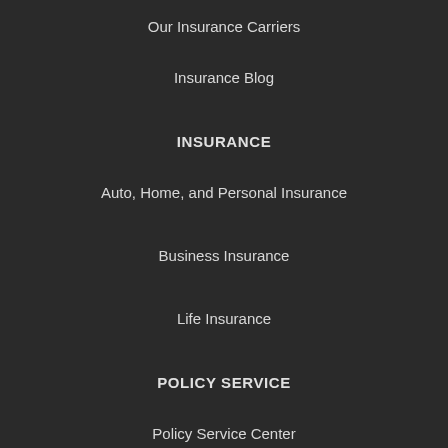Our Insurance Carriers
Insurance Blog
INSURANCE
Auto, Home, and Personal Insurance
Business Insurance
Life Insurance
POLICY SERVICE
Policy Service Center